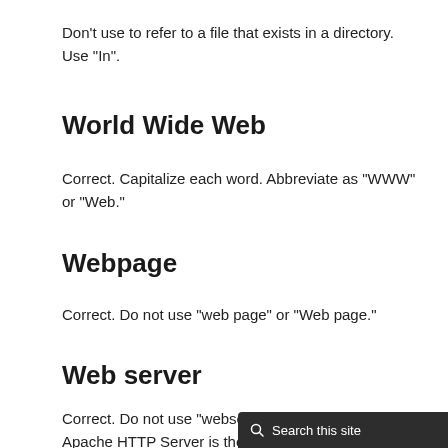Don’t use to refer to a file that exists in a directory. Use “In”.
World Wide Web
Correct. Capitalize each word. Abbreviate as “WWW” or “Web.”
Webpage
Correct. Do not use “web page” or “Web page.”
Web server
Correct. Do not use “webserver”. For example, “The Apache HTTP Server is the default Web server…”